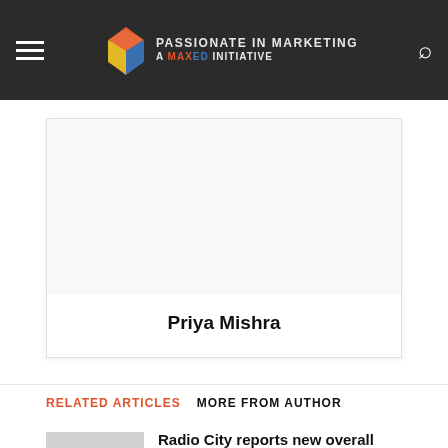PASSIONATE IN MARKETING A MaxEd INITIATIVE
[Figure (photo): Author profile image card for Priya Mishra]
Priya Mishra
RELATED ARTICLES
MORE FROM AUTHOR
Radio City reports new overall property ‘Radio City Business Titans’
Neha Gupta of HK Vitals: Consumers